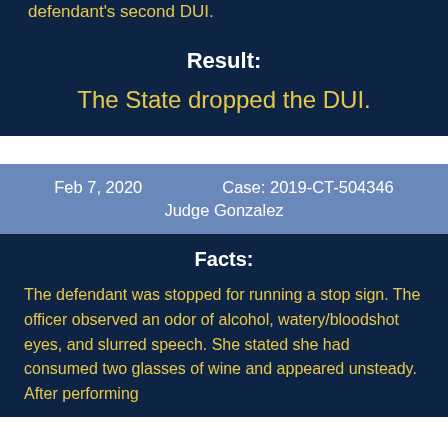defendant's second DUI.
Result:
The State dropped the DUI.
Feb 7, 2020   Case: 2019-CT-504346   Judge Gonzalez
Facts:
The defendant was stopped for running a stop sign. The officer observed an odor of alcohol, watery/bloodshot eyes, and slurred speech. She stated she had consumed two glasses of wine and appeared unsteady. After performing